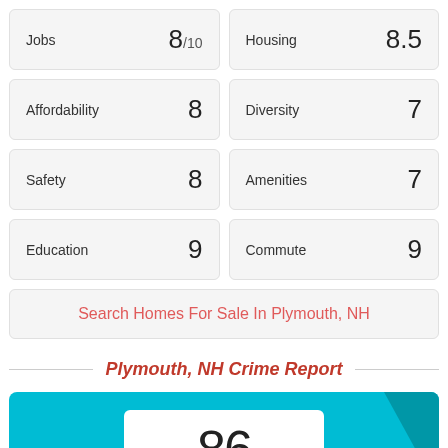Jobs 8/10
Housing 8.5
Affordability 8
Diversity 7
Safety 8
Amenities 7
Education 9
Commute 9
Search Homes For Sale In Plymouth, NH
Plymouth, NH Crime Report
86